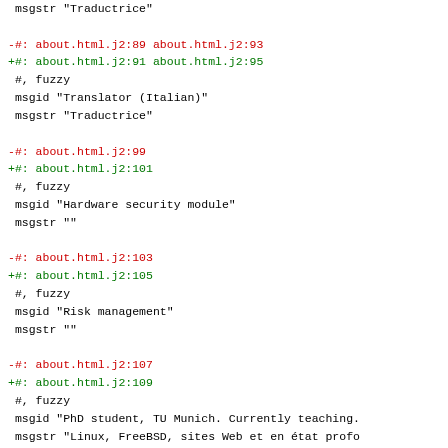msgstr "Traductrice"
-#: about.html.j2:89 about.html.j2:93
+#: about.html.j2:91 about.html.j2:95
 #, fuzzy
 msgid "Translator (Italian)"
 msgstr "Traductrice"
-#: about.html.j2:99
+#: about.html.j2:101
 #, fuzzy
 msgid "Hardware security module"
 msgstr ""
-#: about.html.j2:103
+#: about.html.j2:105
 #, fuzzy
 msgid "Risk management"
 msgstr ""
-#: about.html.j2:107
+#: about.html.j2:109
 #, fuzzy
 msgid "PhD student, TU Munich. Currently teaching.
 msgstr "Linux, FreeBSD, sites Web et en état profo
-#: about.html.j2:113
+#: about.html.j2:115
 #, fuzzy
 msgid "Software engineer. Works on Android wallet